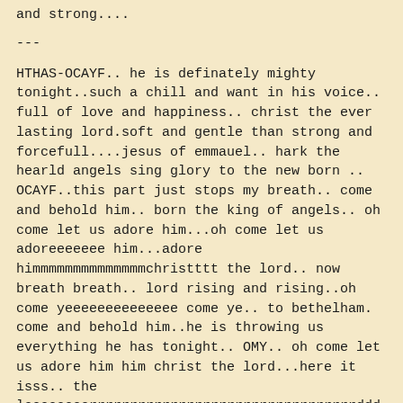and strong....
---
HTHAS-OCAYF.. he is definately mighty tonight..such a chill and want in his voice.. full of love and happiness.. christ the ever lasting lord.soft and gentle than strong and forcefull....jesus of emmauel.. hark the hearld angels sing glory to the new born .. OCAYF..this part just stops my breath.. come and behold him.. born the king of angels.. oh come let us adore him...oh come let us adoreeeeeee him...adore himmmmmmmmmmmmmmchristttt the lord.. now breath breath.. lord rising and rising..oh come yeeeeeeeeeeeeee come ye.. to bethelham. come and behold him..he is throwing us everything he has tonight.. OMY.. oh come let us adore him him christ the lord...here it isss.. the looooooorrrrrrrrrrrrrrrrrrrrrrrrrrrrrrrrrddddddddddddddddddddddddd
ddddddddddddddddddddddddddddddddddddddddddddddddddddddddddddddddddddddddddddddddddddd held forever. just earth shattering.. had to be another SO